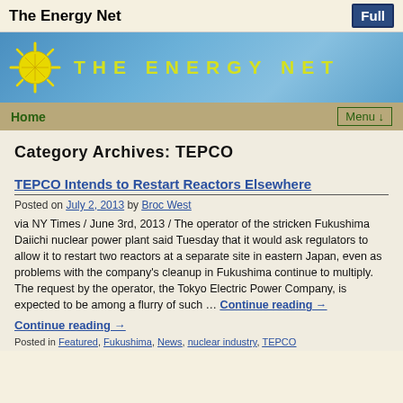The Energy Net
[Figure (logo): The Energy Net banner with sun logo and blue sky background]
Home   Menu ↓
Category Archives: TEPCO
TEPCO Intends to Restart Reactors Elsewhere
Posted on July 2, 2013 by Broc West
via NY Times / June 3rd, 2013 / The operator of the stricken Fukushima Daiichi nuclear power plant said Tuesday that it would ask regulators to allow it to restart two reactors at a separate site in eastern Japan, even as problems with the company's cleanup in Fukushima continue to multiply. The request by the operator, the Tokyo Electric Power Company, is expected to be among a flurry of such … Continue reading →
Continue reading →
Posted in Featured, Fukushima, News, nuclear industry, TEPCO